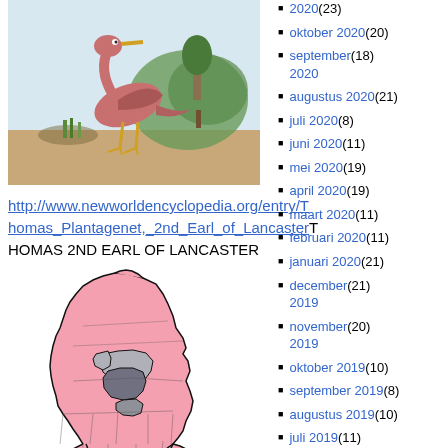[Figure (illustration): Historical illustration of a bird (possibly a heron or similar wading bird) in a natural landscape setting, colored engraving style.]
http://www.newworldencyclopedia.org/entry/Thomas_Plantagenet,_2nd_Earl_of_LancasterTHOMAS 2ND EARL OF LANCASTER
[Figure (map): Map of England showing Thomas of Lancaster's main possessions, with regions colored pink and grey/dark grey to indicate different territories.]
Thomas of Lancaster's main possessions
2020 (23)
oktober 2020 (20)
september 2020 (18)
augustus 2020 (21)
juli 2020 (8)
juni 2020 (11)
mei 2020 (19)
april 2020 (19)
maart 2020 (11)
februari 2020 (11)
januari 2020 (21)
december 2019 (21)
november 2019 (20)
oktober 2019 (10)
september 2019 (8)
augustus 2019 (10)
juli 2019 (11)